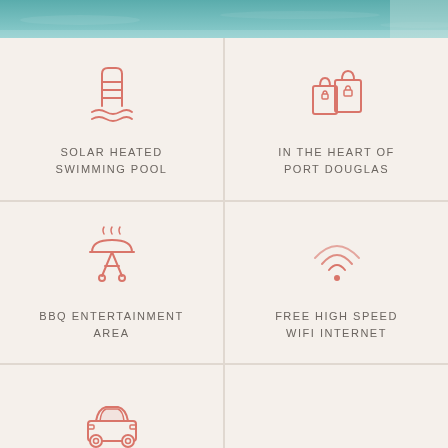[Figure (photo): Photo strip of a swimming pool from above, teal water]
[Figure (illustration): Swimming pool ladder icon in salmon/coral color]
SOLAR HEATED SWIMMING POOL
[Figure (illustration): Shopping bags icon in salmon/coral color]
IN THE HEART OF PORT DOUGLAS
[Figure (illustration): BBQ grill icon in salmon/coral color]
BBQ ENTERTAINMENT AREA
[Figure (illustration): WiFi signal icon in salmon/coral color]
FREE HIGH SPEED WIFI INTERNET
[Figure (illustration): Car (front view) icon in salmon/coral color]
UNDERCOVER CAR PARKING